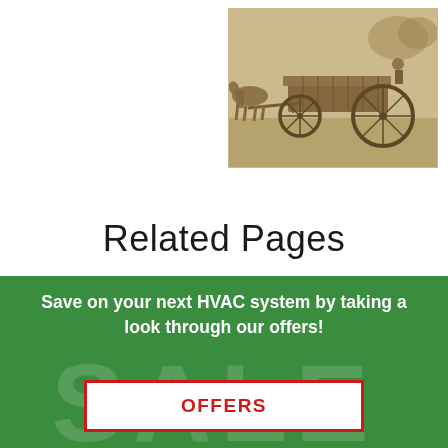[Figure (photo): Sepia-toned historical photograph of a horse-drawn wagon or carriage with large spoked wheels, outdoors on grass.]
Related Pages
[Figure (infographic): Green promotional banner with large 'SALE' text watermark in background, white bold text reading 'Save on your next HVAC system by taking a look through our offers!', and a white button with red border labeled 'OFFERS'.]
Save on your next HVAC system by taking a look through our offers!
OFFERS